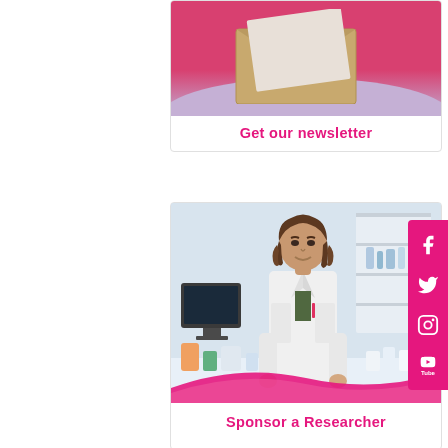[Figure (photo): Card with newsletter image - pink/lavender background with kraft paper envelope, text reading 'Get our newsletter' in pink]
Get our newsletter
[Figure (photo): Card with photo of female researcher in white lab coat standing in laboratory, with pink wave overlay at bottom]
Sponsor a Researcher
[Figure (infographic): Social media sidebar with Facebook, Twitter, Instagram, and YouTube icons on pink background]